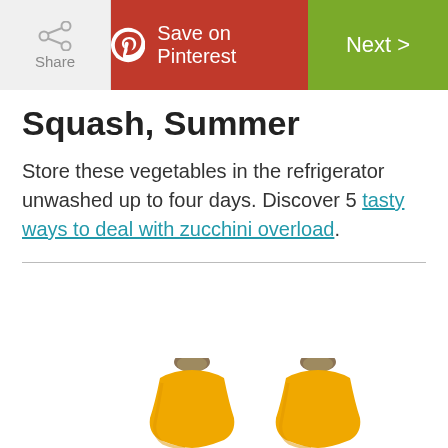Share | Save on Pinterest | Next >
Squash, Summer
Store these vegetables in the refrigerator unwashed up to four days. Discover 5 tasty ways to deal with zucchini overload.
[Figure (photo): Two yellow summer squash (butternut-style) photographed from above on a white background, showing the stem ends and upper portions of the squash.]